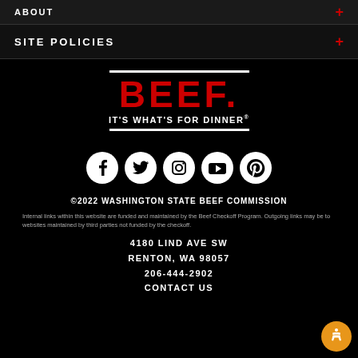ABOUT
SITE POLICIES
[Figure (logo): BEEF. IT'S WHAT'S FOR DINNER® logo with red text and white horizontal lines above and below]
[Figure (infographic): Social media icons row: Facebook, Twitter, Instagram, YouTube, Pinterest — white circular icons on black background]
©2022 WASHINGTON STATE BEEF COMMISSION
Internal links within this website are funded and maintained by the Beef Checkoff Program. Outgoing links may be to websites maintained by third parties not funded by the checkoff.
4180 LIND AVE SW
RENTON, WA 98057
206-444-2902
CONTACT US